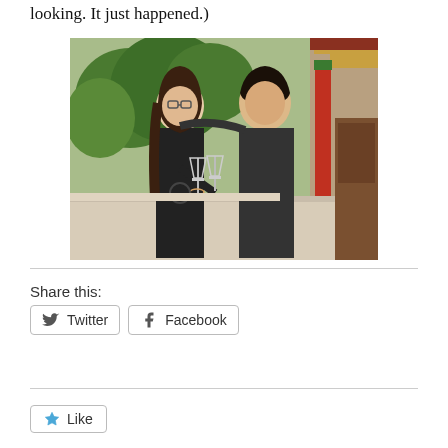looking. It just happened.)
[Figure (photo): Two people posing outdoors, toasting with champagne glasses. A woman with glasses and long dark hair in a black top, and a young man in a dark v-neck shirt. Background shows trees and a building with traditional architecture (red and green columns, yellow trim).]
Share this:
Twitter
Facebook
Like